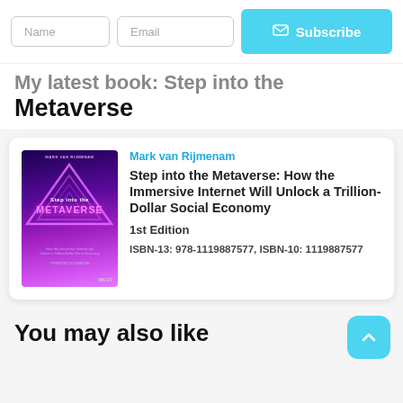Name | Email | Subscribe
My latest book: Step into the Metaverse
[Figure (illustration): Book cover of 'Step into the Metaverse' by Mark van Rijmenam, published by Wiley. Purple/pink neon triangle design on dark background.]
Mark van Rijmenam
Step into the Metaverse: How the Immersive Internet Will Unlock a Trillion-Dollar Social Economy
1st Edition
ISBN-13: 978-1119887577, ISBN-10: 1119887577
You may also like